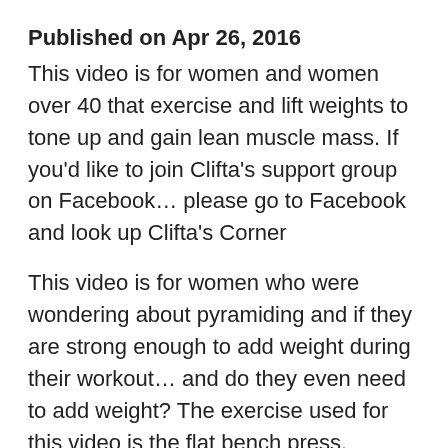Published on Apr 26, 2016
This video is for women and women over 40 that exercise and lift weights to tone up and gain lean muscle mass. If you'd like to join Clifta's support group on Facebook… please go to Facebook and look up Clifta's Corner
This video is for women who were wondering about pyramiding and if they are strong enough to add weight during their workout… and do they even need to add weight? The exercise used for this video is the flat bench press.
Please subscribe to CliftaFit on Youtube so you don't miss any of Clifta's videos on Health, Fitness, Nutrition, Exercise, Weight Lifting, and MUCH MORE!!!
This video is for women and women over 40 that exercise